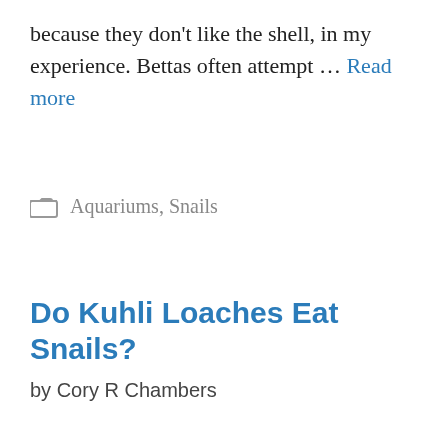because they don't like the shell, in my experience. Bettas often attempt … Read more
Categories: Aquariums, Snails
Do Kuhli Loaches Eat Snails?
by Cory R Chambers